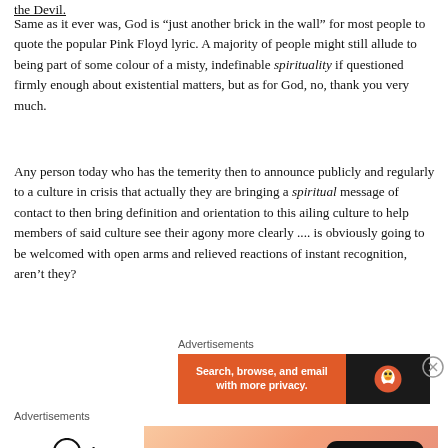the Devil.
Same as it ever was, God is “just another brick in the wall” for most people to quote the popular Pink Floyd lyric. A majority of people might still allude to being part of some colour of a misty, indefinable spirituality if questioned firmly enough about existential matters, but as for God, no, thank you very much.
Any person today who has the temerity then to announce publicly and regularly to a culture in crisis that actually they are bringing a spiritual message of contact to then bring definition and orientation to this ailing culture to help members of said culture see their agony more clearly .... is obviously going to be welcomed with open arms and relieved reactions of instant recognition, aren’t they?
Advertisements
[Figure (screenshot): DuckDuckGo advertisement: orange left panel with text 'Search, browse, and email with more privacy.' and dark right panel with DuckDuckGo logo]
Advertisements
[Figure (screenshot): WordPress VIP advertisement with WordPress VIP logo on left and gradient peach background on right with 'Learn more ->' button]